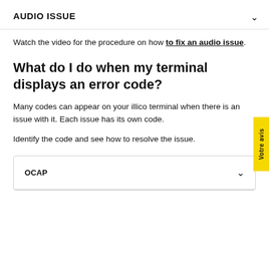AUDIO ISSUE
Watch the video for the procedure on how to fix an audio issue.
What do I do when my terminal displays an error code?
Many codes can appear on your illico terminal when there is an issue with it. Each issue has its own code.
Identify the code and see how to resolve the issue.
| OCAP |  |
| --- | --- |